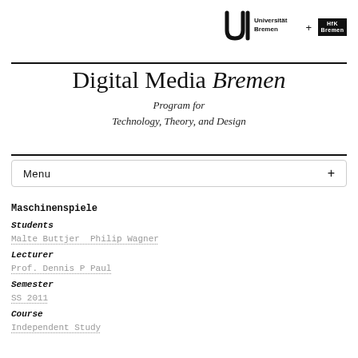[Figure (logo): Universität Bremen logo with U-shaped mark and text, plus HfK Bremen black box logo]
Digital Media Bremen
Program for
Technology, Theory, and Design
Menu +
Maschinenspiele
Students
Malte Buttjer  Philip Wagner
Lecturer
Prof. Dennis P Paul
Semester
SS 2011
Course
Independent Study